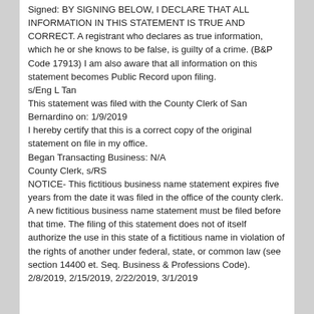Signed: BY SIGNING BELOW, I DECLARE THAT ALL INFORMATION IN THIS STATEMENT IS TRUE AND CORRECT. A registrant who declares as true information, which he or she knows to be false, is guilty of a crime. (B&P Code 17913) I am also aware that all information on this statement becomes Public Record upon filing.
s/Eng L Tan
This statement was filed with the County Clerk of San Bernardino on: 1/9/2019
I hereby certify that this is a correct copy of the original statement on file in my office.
Began Transacting Business: N/A
County Clerk, s/RS
NOTICE- This fictitious business name statement expires five years from the date it was filed in the office of the county clerk. A new fictitious business name statement must be filed before that time. The filing of this statement does not of itself authorize the use in this state of a fictitious name in violation of the rights of another under federal, state, or common law (see section 14400 et. Seq. Business & Professions Code).
2/8/2019, 2/15/2019, 2/22/2019, 3/1/2019